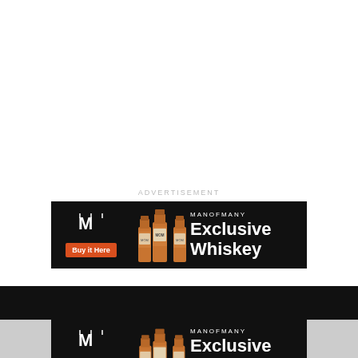ADVERTISEMENT
[Figure (infographic): Black horizontal advertisement banner for ManOfMany Exclusive Whiskey. Left side shows ManOfMany logo (M symbol) and orange 'Buy it Here' button. Center shows whiskey bottle illustrations. Right side shows 'MANOFMANY' text and 'Exclusive Whiskey' in large white text.]
[Figure (infographic): Black background section with white uppercase text 'WANT TO JOIN OUR EXCLUSIVE COMMUNITY?' followed by a second ManOfMany Exclusive Whiskey ad banner at the bottom, partially cut off.]